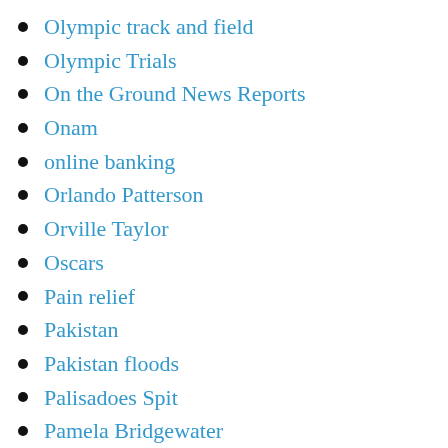Olympic track and field
Olympic Trials
On the Ground News Reports
Onam
online banking
Orlando Patterson
Orville Taylor
Oscars
Pain relief
Pakistan
Pakistan floods
Palisadoes Spit
Pamela Bridgewater
Pamela Johnson
Parang
Parks